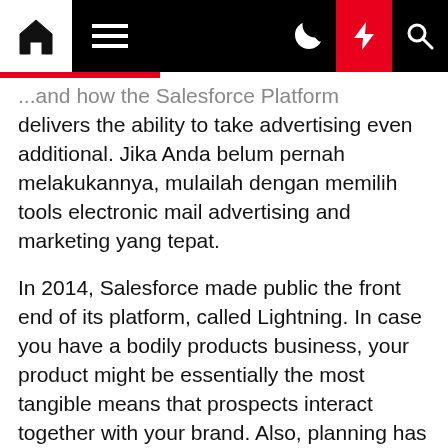Navigation bar with home, menu, moon, lightning, and search icons
... and how the Salesforce Platform delivers the ability to take advertising even additional. Jika Anda belum pernah melakukannya, mulailah dengan memilih tools electronic mail advertising and marketing yang tepat.
In 2014, Salesforce made public the front end of its platform, called Lightning. In case you have a bodily products business, your product might be essentially the most tangible means that prospects interact together with your brand. Also, planning has a specific course of and is critical for a number of occupations (significantly in fields reminiscent of management , business , etc.). In each subject there are several types of plans that help firms achieve effectivity and effectiveness.
The definition of administration is the best way